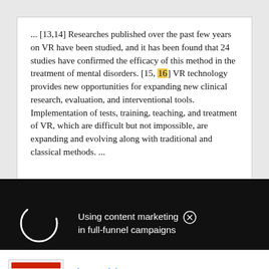... [13,14] Researches published over the past few years on VR have been studied, and it has been found that 24 studies have confirmed the efficacy of this method in the treatment of mental disorders. [15, 16] VR technology provides new opportunities for expanding new clinical research, evaluation, and interventional tools. Implementation of tests, training, teaching, and treatment of VR, which are difficult but not impossible, are expanding and evolving along with traditional and classical methods. ...
[Figure (other): Black overlay banner with a circular loading spinner on the left and text 'Using content marketing in full-funnel campaigns' with a close (X) button on the right]
[Figure (other): Advertisement for ThermoFisher Scientific showing a thumbnail image of a document with charts, the ThermoFisher Scientific logo, and the headline 'Next-generation sequencing advances reproductive health research']